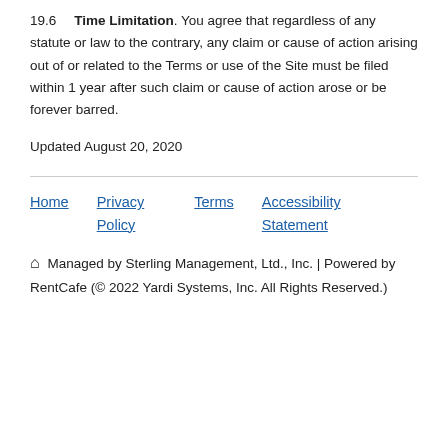19.6  Time Limitation. You agree that regardless of any statute or law to the contrary, any claim or cause of action arising out of or related to the Terms or use of the Site must be filed within 1 year after such claim or cause of action arose or be forever barred.
Updated August 20, 2020
Home  Privacy Policy  Terms  Accessibility Statement
⌂ Managed by Sterling Management, Ltd., Inc. | Powered by RentCafe (© 2022 Yardi Systems, Inc. All Rights Reserved.)